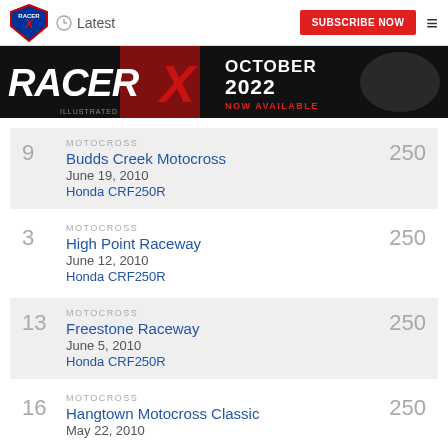Racer X | Latest | SUBSCRIBE NOW
[Figure (illustration): Racer X October 2022 Now Available banner advertisement with motocross rider]
9 | MOTOCROSS | Budds Creek Motocross | June 19, 2010 | Honda CRF250R | 250
3 | MOTOCROSS | High Point Raceway | June 12, 2010 | Honda CRF250R | 250
13 | MOTOCROSS | Freestone Raceway | June 5, 2010 | Honda CRF250R | 250
16 | MOTOCROSS | Hangtown Motocross Classic | May 22, 2010 | 250